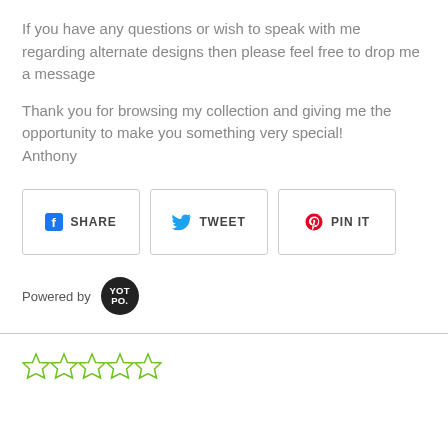If you have any questions or wish to speak with me regarding alternate designs then please feel free to drop me a message
Thank you for browsing my collection and giving me the opportunity to make you something very special! Anthony
[Figure (infographic): Social share buttons: Facebook SHARE, Twitter TWEET, Pinterest PIN IT]
Powered by YOTPO
[Figure (infographic): Five empty green star rating icons]